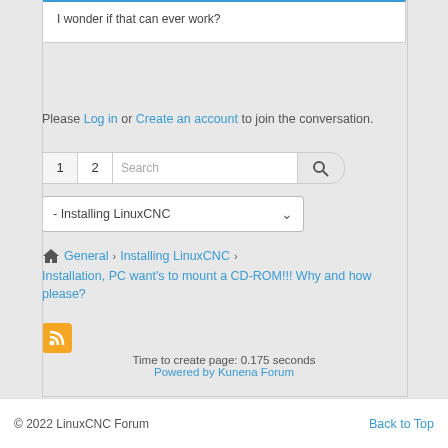I wonder if that can ever work?
Please Log in or Create an account to join the conversation.
1  2  Search
- Installing LinuxCNC
General > Installing LinuxCNC > Installation, PC want's to mount a CD-ROM!!! Why and how please?
Time to create page: 0.175 seconds
Powered by Kunena Forum
© 2022 LinuxCNC Forum    Back to Top